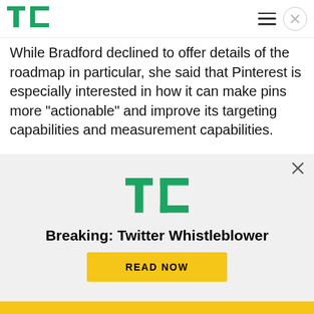TechCrunch logo and navigation
While Bradford declined to offer details of the roadmap in particular, she said that Pinterest is especially interested in how it can make pins more “actionable” and improve its targeting capabilities and measurement capabilities.
“We believe we have a full solution for marketers,” she said, referring to Pinterest’s numerous free tools, including those that allow businesses to
[Figure (logo): TechCrunch TC logo in green]
Breaking: Twitter Whistleblower
READ NOW